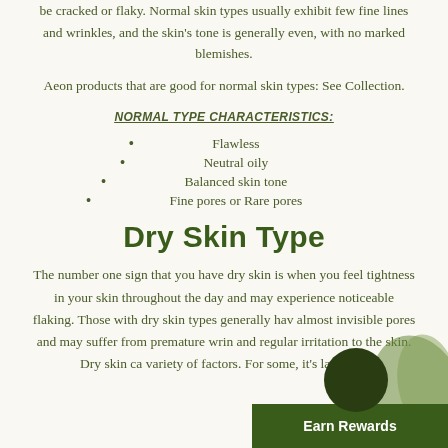be cracked or flaky. Normal skin types usually exhibit few fine lines and wrinkles, and the skin's tone is generally even, with no marked blemishes.
Aeon products that are good for normal skin types: See Collection.
NORMAL TYPE CHARACTERISTICS:
Flawless
Neutral oily
Balanced skin tone
Fine pores or Rare pores
Dry Skin Type
The number one sign that you have dry skin is when you feel tightness in your skin throughout the day and may experience noticeable flaking. Those with dry skin types generally have almost invisible pores and may suffer from premature wrinkles and regular irritation to the skin. Dry skin can be caused by a variety of factors. For some, it's largely d